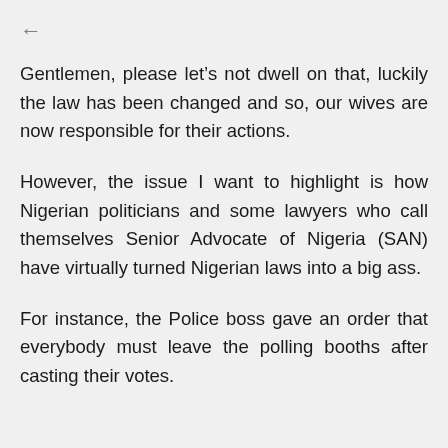←
Gentlemen, please let's not dwell on that, luckily the law has been changed and so, our wives are now responsible for their actions.
However, the issue I want to highlight is how Nigerian politicians and some lawyers who call themselves Senior Advocate of Nigeria (SAN) have virtually turned Nigerian laws into a big ass.
For instance, the Police boss gave an order that everybody must leave the polling booths after casting their votes.